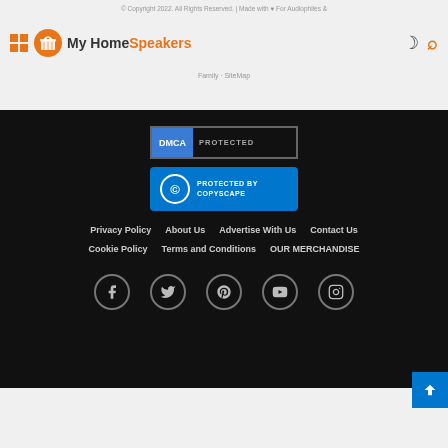© Copyright 2022. All Rights Reserved. | Made with ♥ For Audiophiles & Music Family · SiteMap
[Figure (logo): My Home Speakers logo with grid icon, basket icon, and brand name text]
[Figure (other): DMCA Protected badge]
[Figure (other): Protected by Copyscape badge]
Privacy Policy
About Us
Advertise With Us
Contact Us
Cookie Policy
Terms and Conditions
OUR MERCHANDISE
[Figure (other): Social media icons row: Facebook, Twitter, Pinterest, YouTube, Instagram]
[Figure (other): Scroll to top blue button with up arrow]